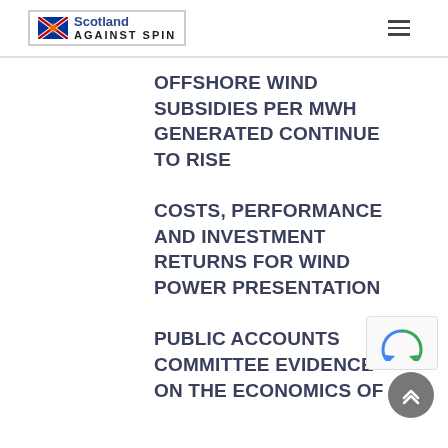Scotland Against Spin
OFFSHORE WIND SUBSIDIES PER MWH GENERATED CONTINUE TO RISE COSTS, PERFORMANCE AND INVESTMENT RETURNS FOR WIND POWER PRESENTATION PUBLIC ACCOUNTS COMMITTEE EVIDENCE ON THE ECONOMICS OF